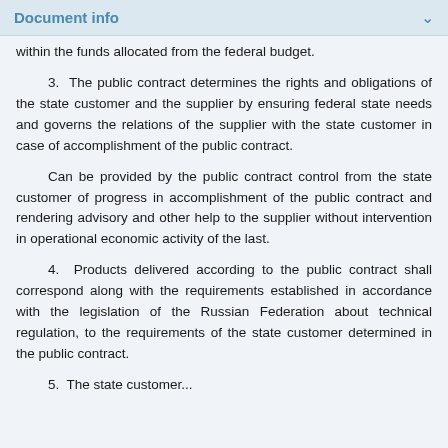Document info
within the funds allocated from the federal budget.
3. The public contract determines the rights and obligations of the state customer and the supplier by ensuring federal state needs and governs the relations of the supplier with the state customer in case of accomplishment of the public contract.
Can be provided by the public contract control from the state customer of progress in accomplishment of the public contract and rendering advisory and other help to the supplier without intervention in operational economic activity of the last.
4. Products delivered according to the public contract shall correspond along with the requirements established in accordance with the legislation of the Russian Federation about technical regulation, to the requirements of the state customer determined in the public contract.
5. The state customer...